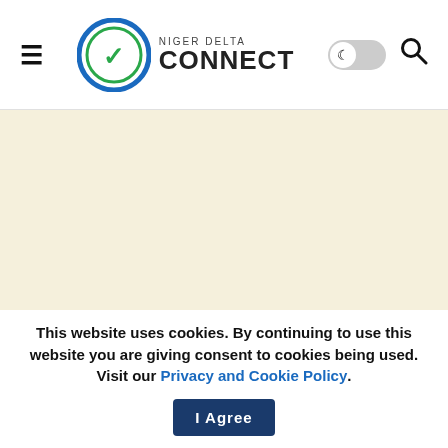Niger Delta Connect — website header with hamburger menu, logo, dark mode toggle, and search icon
[Figure (screenshot): Large beige/cream-colored placeholder image area below the header]
This website uses cookies. By continuing to use this website you are giving consent to cookies being used. Visit our Privacy and Cookie Policy. I Agree